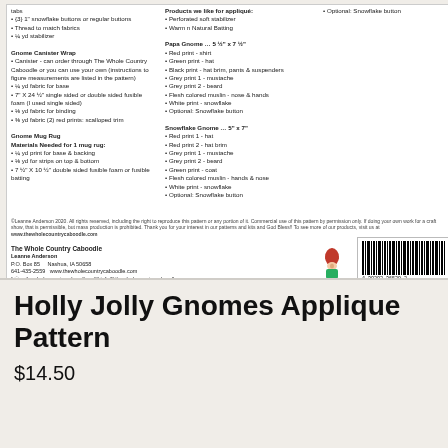[Figure (other): Back of a craft pattern packet for Holly Jolly Gnomes Applique Pattern by The Whole Country Caboodle, showing materials lists, copyright notice, publisher info, and barcode.]
Holly Jolly Gnomes Applique Pattern
$14.50